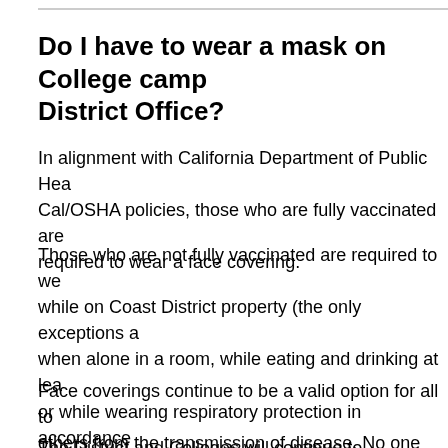Do I have to wear a mask on College campuses or the District Office?
In alignment with California Department of Public Health and Cal/OSHA policies, those who are fully vaccinated are not required to wear a face covering.
Those who are not fully vaccinated are required to wear a mask while on Coast District property (the only exceptions are when alone in a room, while eating and drinking at least 6 feet apart, or while wearing respiratory protection in accordance with state or federal safety orders).
Face coverings continue to be a valid option for all to protect others from the transmission of disease. No one should be harassed, threatened, or retaliated against for choosing to wear a mask.
The District and Colleges will continue to communicate...